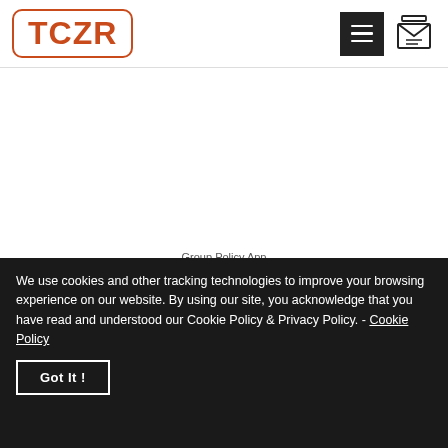[Figure (logo): TCZR logo in orange-red bold text inside a rounded rectangle border]
[Figure (other): Hamburger menu button (dark square with three white lines) and envelope/mail icon]
Group Policy App
We use cookies and other tracking technologies to improve your browsing experience on our website. By using our site, you acknowledge that you have read and understood our Cookie Policy & Privacy Policy. - Cookie Policy
Got It !